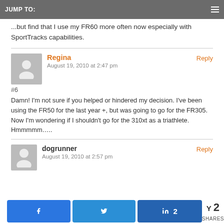JUMP TO:
...but find that I use my FR60 more often now especially with SportTracks capabilities.
Regina — August 19, 2010 at 2:47 pm — Reply
#6
Damn! I'm not sure if you helped or hindered my decision. I've been using the FR50 for the last year +, but was going to go for the FR305. Now I'm wondering if I shouldn't go for the 310xt as a triathlete. Hmmmmm…..
dogrunner — August 19, 2010 at 2:57 pm — Reply